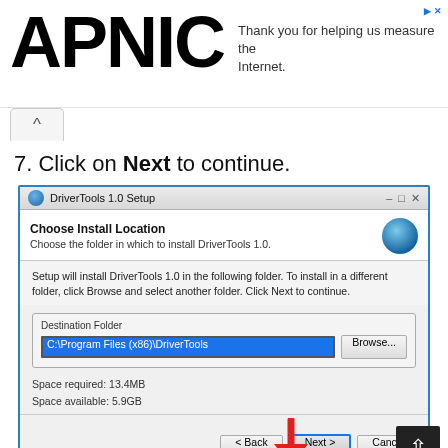[Figure (screenshot): APNIC logo and advertisement banner reading 'Thank you for helping us measure the Internet.']
7. Click on Next to continue.
[Figure (screenshot): DriverTools 1.0 Setup dialog showing Choose Install Location screen with destination folder C:\Program Files (x86)\DriverTools, Browse button, space required 13.4MB, space available 5.9GB, and a red arrow pointing to the Next button at the bottom.]